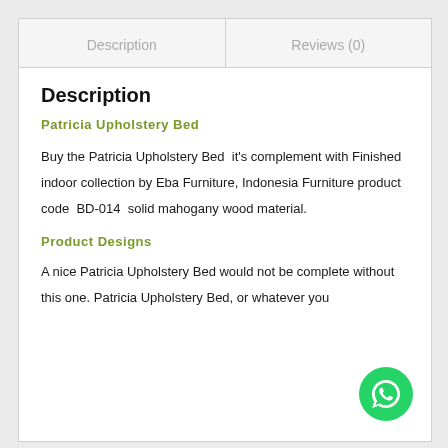Description
Reviews (0)
Description
Patricia Upholstery Bed
Buy the Patricia Upholstery Bed  it's complement with Finished indoor collection by Eba Furniture, Indonesia Furniture product code  BD-014  solid mahogany wood material.
Product Designs
A nice Patricia Upholstery Bed would not be complete without this one. Patricia Upholstery Bed, or whatever you